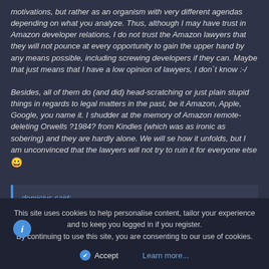motivations, but rather as an organism with very different agendas depending on what you analyze. Thus, although I may have trust in Amazon developer relations, I do not trust the Amazon lawyers that they will not pounce at every opportunity to gain the upper hand by any means possible, including screwing developers if they can. Maybe that just means that I have a low opinion of lawyers, I don´t know :-/

Besides, all of them do (and did) head-scratching or just plain stupid things in regards to legal matters in the past, be it Amazon, Apple, Google, you name it. I shudder at the memory of Amazon remote-deleting Orwells ?1984? from Kindles (which was as ironic as sobering) and they are hardly alone. We will se how it unfolds, but I am unconvinced that the lawyers will not try to ruin it for everyone else 😀
domicius said:
This site uses cookies to help personalise content, tailor your experience and to keep you logged in if you register.
By continuing to use this site, you are consenting to our use of cookies.